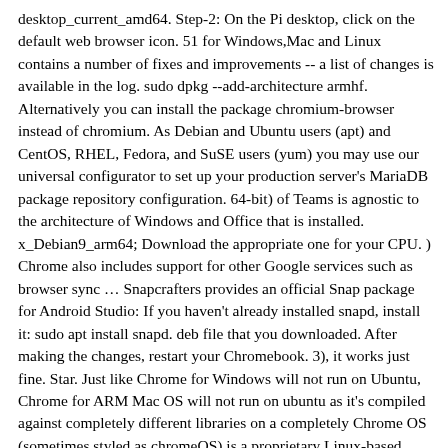desktop_current_amd64. Step-2: On the Pi desktop, click on the default web browser icon. 51 for Windows,Mac and Linux contains a number of fixes and improvements -- a list of changes is available in the log. sudo dpkg --add-architecture armhf. Alternatively you can install the package chromium-browser instead of chromium. As Debian and Ubuntu users (apt) and CentOS, RHEL, Fedora, and SuSE users (yum) you may use our universal configurator to set up your production server's MariaDB package repository configuration. 64-bit) of Teams is agnostic to the architecture of Windows and Office that is installed. x_Debian9_arm64; Download the appropriate one for your CPU. ) Chrome also includes support for other Google services such as browser sync … Snapcrafters provides an official Snap package for Android Studio: If you haven't already installed snapd, install it: sudo apt install snapd. deb file that you downloaded. After making the changes, restart your Chromebook. 3), it works just fine. Star. Just like Chrome for Windows will not run on Ubuntu, Chrome for ARM Mac OS will not run on ubuntu as it's compiled against completely different libraries on a completely Chrome OS (sometimes styled as chromeOS) is a proprietary Linux-based operating system designed by Google. We are targeting Debian buster (stable), bullseye (testing), and sid (unstable), and sudo apt-get install flex. Archive: mongodb-linux-aarch64-amazon2-5. 0, so this build is quite new, which means that most of the features available on the desktop should be there in the … So we'll install